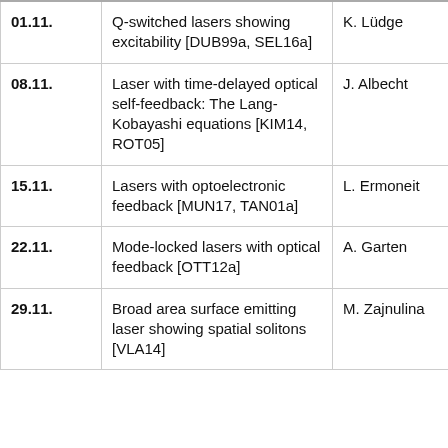| 01.11. | Q-switched lasers showing excitability [DUB99a, SEL16a] | K. Lüdge | KL |
| 08.11. | Laser with time-delayed optical self-feedback: The Lang-Kobayashi equations [KIM14, ROT05] | J. Albecht | AR |
| 15.11. | Lasers with optoelectronic feedback [MUN17, TAN01a] | L. Ermoneit | BL |
| 22.11. | Mode-locked lasers with optical feedback [OTT12a] | A. Garten | LJ |
| 29.11. | Broad area surface emitting laser showing spatial solitons [VLA14] | M. Zajnulina | SM |